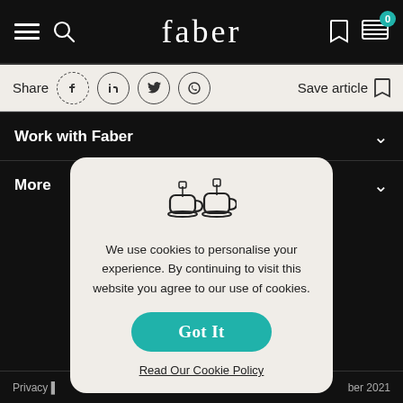faber
Share   Save article
Work with Faber
More
[Figure (screenshot): Cookie consent modal with a tea/coffee cup icon, cookie consent text, a teal 'Got It' button, and a 'Read Our Cookie Policy' link on a beige rounded rectangle background.]
We use cookies to personalise your experience. By continuing to visit this website you agree to our use of cookies.
Got It
Read Our Cookie Policy
Privacy ...   ...ber 2021